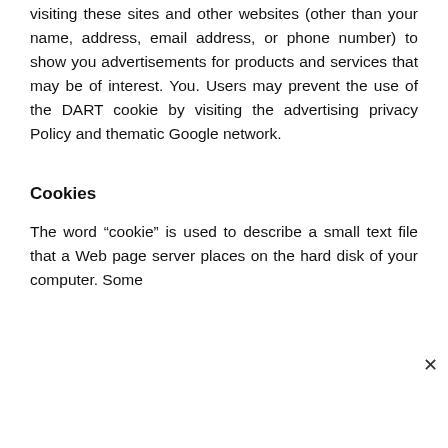visiting these sites and other websites (other than your name, address, email address, or phone number) to show you advertisements for products and services that may be of interest. You. Users may prevent the use of the DART cookie by visiting the advertising privacy Policy and thematic Google network.
Cookies
The word “cookie” is used to describe a small text file that a Web page server places on the hard disk of your computer. Some